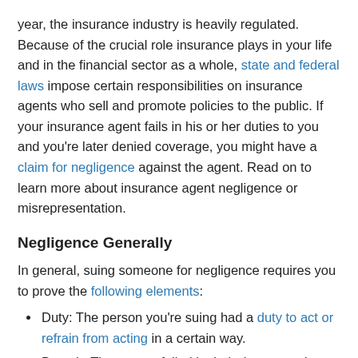year, the insurance industry is heavily regulated. Because of the crucial role insurance plays in your life and in the financial sector as a whole, state and federal laws impose certain responsibilities on insurance agents who sell and promote policies to the public. If your insurance agent fails in his or her duties to you and you're later denied coverage, you might have a claim for negligence against the agent. Read on to learn more about insurance agent negligence or misrepresentation.
Negligence Generally
In general, suing someone for negligence requires you to prove the following elements:
Duty: The person you're suing had a duty to act or refrain from acting in a certain way.
Breach: The person failed in their duty toward you.